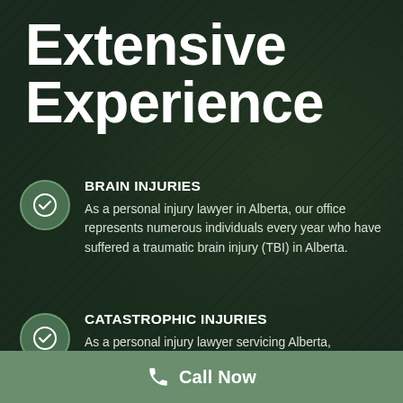Extensive Experience
BRAIN INJURIES
As a personal injury lawyer in Alberta, our office represents numerous individuals every year who have suffered a traumatic brain injury (TBI) in Alberta.
CATASTROPHIC INJURIES
As a personal injury lawyer servicing Alberta,
Call Now